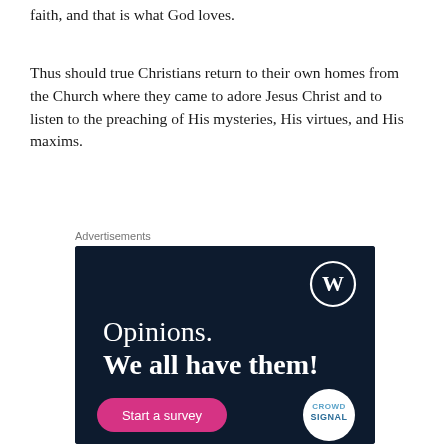faith, and that is what God loves.
Thus should true Christians return to their own homes from the Church where they came to adore Jesus Christ and to listen to the preaching of His mysteries, His virtues, and His maxims.
Advertisements
[Figure (illustration): Advertisement banner with dark navy background showing WordPress logo (W in circle) at top right, text 'Opinions. We all have them!' in white, a pink 'Start a survey' button at bottom left, and a CrowdSignal logo circle at bottom right.]